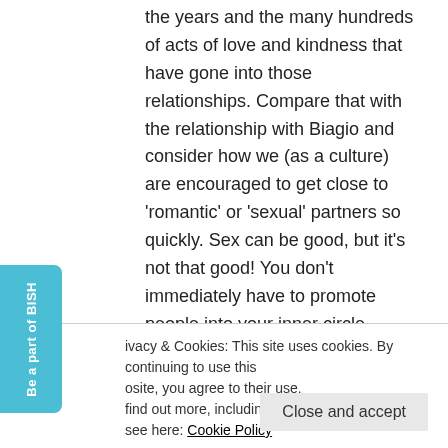the years and the many hundreds of acts of love and kindness that have gone into those relationships. Compare that with the relationship with Biagio and consider how we (as a culture) are encouraged to get close to 'romantic' or 'sexual' partners so quickly. Sex can be good, but it's not that good! You don't immediately have to promote people into your inner circle because the sex was good. Just saying.
ivacy & Cookies: This site uses cookies. By continuing to use this osite, you agree to their use. find out more, including how to control cookies, see here: Cookie Policy
Close and accept
as someone you might be having sex with?